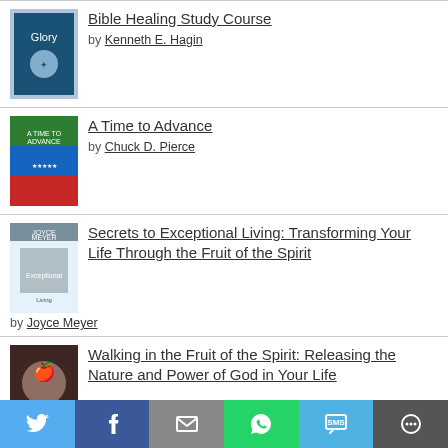Bible Healing Study Course by Kenneth E. Hagin
A Time to Advance by Chuck D. Pierce
Secrets to Exceptional Living: Transforming Your Life Through the Fruit of the Spirit by Joyce Meyer
Walking in the Fruit of the Spirit: Releasing the Nature and Power of God in Your Life by Gloria Copeland
Do It Afraid: Embracing Courage in
[Figure (screenshot): Social share bar with Twitter, Facebook, Email, WhatsApp, SMS, and More buttons]